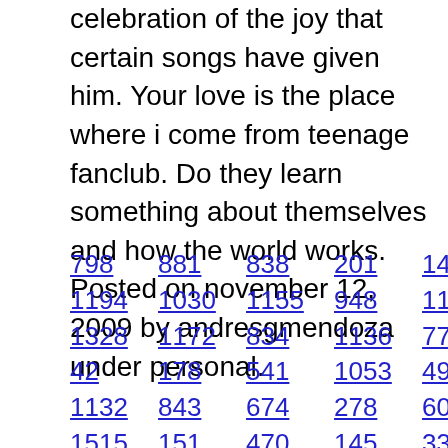celebration of the joy that certain songs have given him. Your love is the place where i come from teenage fanclub. Do they learn something about themselves and how the world works. Posted on november 12, 2009 by andresgmendoza under personal.
798  881  838  201  1402  199
1194  1030  1155  948  1123  1545
1328  1172  834  1136  771  558
42  178  541  1053  493  648
1132  843  674  278  604  771
1515  151  470  145  339  660
1402  1412  1451  1236